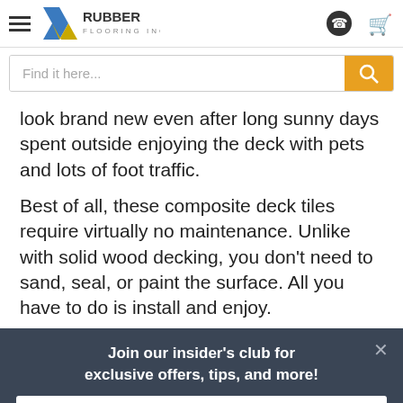[Figure (logo): Rubber Flooring Inc logo with hamburger menu icon on the left and shopping cart and phone icons on the right]
[Figure (screenshot): Search bar with placeholder 'Find it here...' and orange search button]
look brand new even after long sunny days spent outside enjoying the deck with pets and lots of foot traffic.
Best of all, these composite deck tiles require virtually no maintenance. Unlike with solid wood decking, you don't need to sand, seal, or paint the surface. All you have to do is install and enjoy.
Join our insider's club for exclusive offers, tips, and more!
Enter your email here...
Sign Up